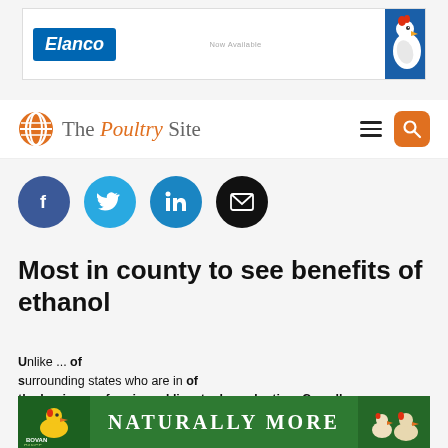[Figure (photo): Elanco advertisement banner with blue Elanco logo on left and chicken photo on right]
[Figure (logo): The Poultry Site website logo with orange globe icon and navigation bar including hamburger menu and orange search button]
[Figure (infographic): Row of four social media sharing icons: Facebook (dark blue), Twitter (light blue), LinkedIn (medium blue), Email (black)]
Most in county to see benefits of ethanol
Unlike ... of surrounding states who are in the business of grain and livestock production, Carroll County farmers may have a better understanding than
[Figure (photo): Naturally More advertisement banner with green background, chickens, and Bovan Range logo]